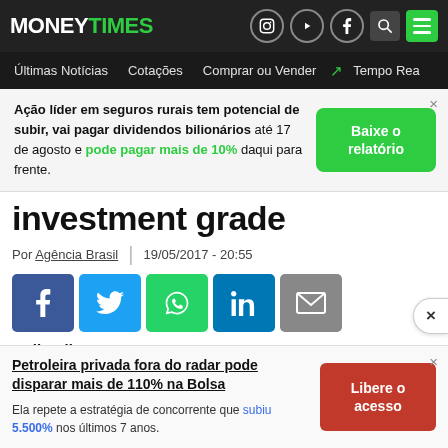MONEY TIMES — navigation header with logo and icons
[Figure (screenshot): Advertisement banner: Ação líder em seguros rurais tem potencial de subir, vai pagar dividendos bilionários até 17 de agosto e pode pagar mais de 10% daqui para frente. Baixe o relatório button.]
investment grade
Por Agência Brasil | 19/05/2017 - 20:55
[Figure (infographic): Social share buttons: Facebook, Twitter, WhatsApp, LinkedIn, Email]
Mello Silva...
[Figure (screenshot): Advertisement: Petroleira privada fora do radar pode disparar mais de 110% na Bolsa. Ela repete a estratégia de concorrente que subiu 5.500% nos últimos 7 anos. Libere o acesso button.]